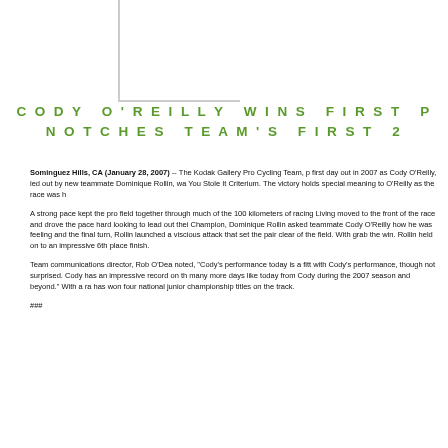CODY O'REILLY WINS FIRST P NOTCHES TEAM'S FIRST 2
Sominguez Hills, CA (January 28, 2007) -- The Kodak Gallery Pro Cycling Team, p first day out in 2007 as Cody O'Reilly, led out by new teammate Dominique Rollin, wa You Stole It Criterium. The victory holds special meaning to O'Reilly as the race was h
A strong pace kept the pro field together through much of the 100 kilometers of racing Living moved to the front of the race and drove the pace hard looking to lead out thei Champion, Dominique Rollin asked teammate Cody O'Reilly how he was feeling and the final turn, Rollin launched a viscious attack that set the pair clear of the field. With grab the win. Rollin held on to an impressive 6th place finish.
Team communications director, Rob O'Dea noted, "Cody's performance today is a fitt with Cody's performance, though not surprised. Cody has an impressive record on th many more days like today from Cody during the 2007 season and beyond." With a ra has won four national junior championship titles on the track.
###